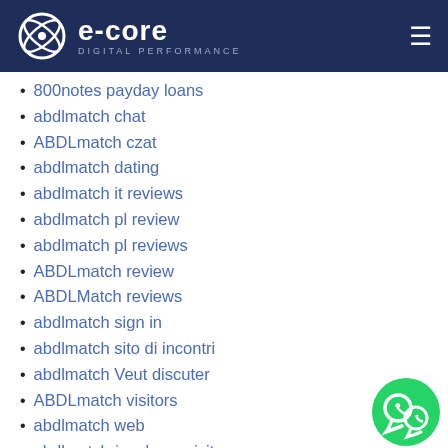e-core DIGITAL PERFORMANCE
800notes payday loans
abdlmatch chat
ABDLmatch czat
abdlmatch dating
abdlmatch it reviews
abdlmatch pl review
abdlmatch pl reviews
ABDLmatch review
ABDLMatch reviews
abdlmatch sign in
abdlmatch sito di incontri
abdlmatch Veut discuter
ABDLmatch visitors
abdlmatch web
abdlmatch-inceleme visitors
Abenteuer Dating Dating Apps
abenteuer-dating kostenlos
abenteuer-dating visitors
aberdeen UK dating
abilene eros escort
abilene escort